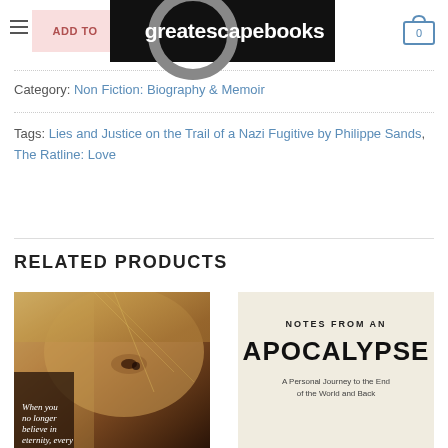greatescapebooks
Category: Non Fiction: Biography & Memoir
Tags: Lies and Justice on the Trail of a Nazi Fugitive by Philippe Sands, The Ratline: Love
RELATED PRODUCTS
[Figure (photo): Book cover photo showing a close-up of a person's face (blonde hair, eye visible), with italic text reading 'When you no longer believe in eternity, every']
[Figure (photo): Book cover for 'Notes from an Apocalypse: A Personal Journey to the End of the World and Back' on a beige background with bold black typography]